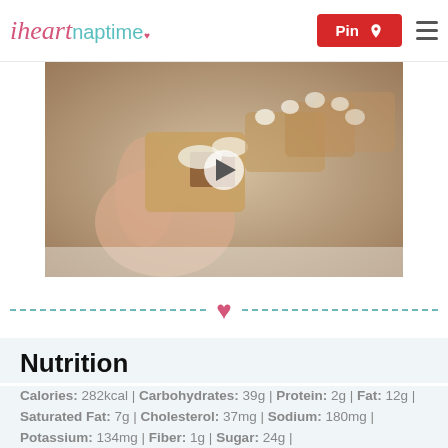i heart naptime | Pin | menu
[Figure (photo): A hand holding a s'mores bar with chocolate, marshmallow visible, with more bars in the background. A play button overlay is visible indicating a video.]
♥
Nutrition
Calories: 282kcal | Carbohydrates: 39g | Protein: 2g | Fat: 12g | Saturated Fat: 7g | Cholesterol: 37mg | Sodium: 180mg | Potassium: 134mg | Fiber: 1g | Sugar: 24g |